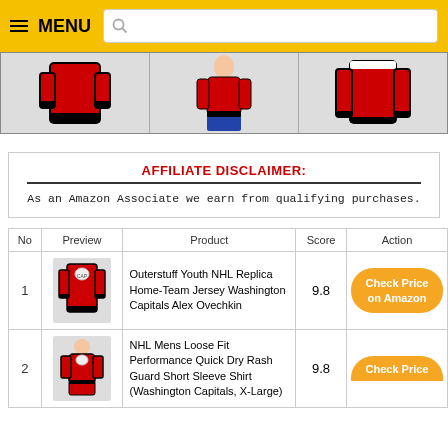MENU (search bar)
[Figure (photo): Three product images in a horizontal strip showing red sports jerseys/shirts]
AFFILIATE DISCLAIMER: As an Amazon Associate we earn from qualifying purchases.
| No | Preview | Product | Score | Action |
| --- | --- | --- | --- | --- |
| 1 | [jersey image] | Outerstuff Youth NHL Replica Home-Team Jersey Washington Capitals Alex Ovechkin | 9.8 | Check Price on Amazon |
| 2 | [shirt image] | NHL Mens Loose Fit Performance Quick Dry Rash Guard Short Sleeve Shirt (Washington Capitals, X-Large) | 9.8 | Check Price |